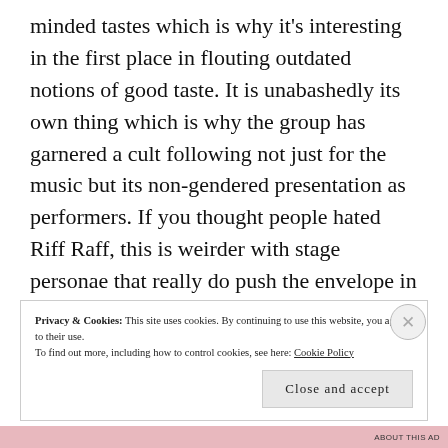minded tastes which is why it's interesting in the first place in flouting outdated notions of good taste. It is unabashedly its own thing which is why the group has garnered a cult following not just for the music but its non-gendered presentation as performers. If you thought people hated Riff Raff, this is weirder with stage personae that really do push the envelope in a creative way and thus culturally significant for that as well as pushing into hybrid musical territories in making something new and undeniably accessible and interesting if you're open to the unfamiliar.
Privacy & Cookies: This site uses cookies. By continuing to use this website, you agree to their use.
To find out more, including how to control cookies, see here: Cookie Policy
Close and accept